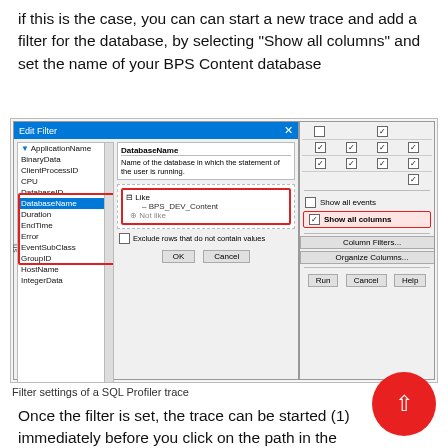if this is the case, you can can start a new trace and add a filter for the database, by selecting “Show all columns” and set the name of your BPS Content database
[Figure (screenshot): SQL Server Profiler Edit Filter dialog showing DatabaseName filter set to 'BPS_DEV_Content' with 'Show all columns' checkbox highlighted, alongside column properties panel with checkboxes]
Filter settings of a SQL Profiler trace
Once the filter is set, the trace can be started (1) immediately before you click on the path in the brow... (2). Once the execution is complete stop the trace (3).